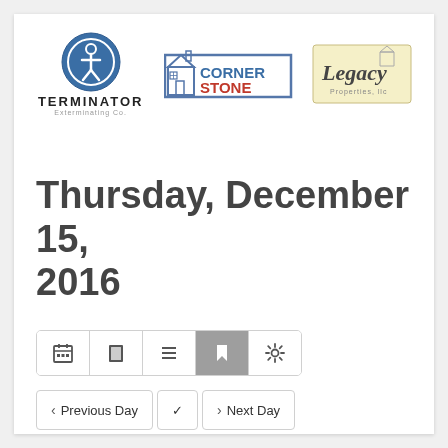[Figure (logo): Terminator Exterminating Co. logo - blue circle with stylized figure icon, TERMINATOR text below]
[Figure (logo): CornerStone logo - house illustration with CORNER in blue and STONE in red text]
[Figure (logo): Legacy Properties LLC logo - yellow background with cursive Legacy text and house icon]
Thursday, December 15, 2016
[Figure (screenshot): Toolbar with calendar, book, list, bookmark (active/highlighted), and settings icons]
[Figure (screenshot): Navigation row with Previous Day and Next Day buttons]